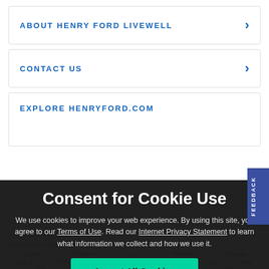ABOUT HENRY FORD LIVEWELL
CONTACT US
EXPLORE HENRYFORD.COM
Consent for Cookie Use
We use cookies to improve your web experience. By using this site, you agree to our Terms of Use. Read our Internet Privacy Statement to learn what information we collect and how we use it.
Accept All Cookies